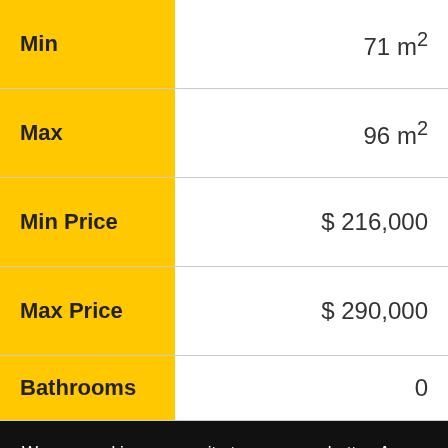| Label | Value |
| --- | --- |
| Min | 71 m² |
| Max | 96 m² |
| Min Price | $216,000 |
| Max Price | $290,000 |
| Bathrooms | 0 |
We use cookies on our site to serve you better. As long as you use our site, you accept our Privacy and Cookie Policy.
Approve
We're Online! How may I help you today?